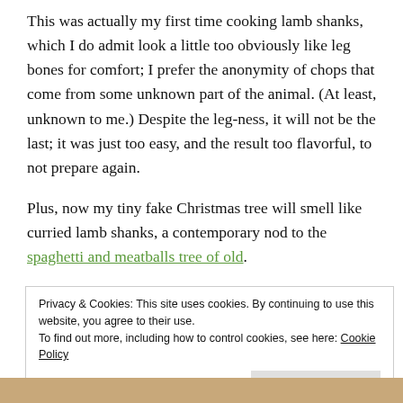This was actually my first time cooking lamb shanks, which I do admit look a little too obviously like leg bones for comfort; I prefer the anonymity of chops that come from some unknown part of the animal. (At least, unknown to me.) Despite the leg-ness, it will not be the last; it was just too easy, and the result too flavorful, to not prepare again.
Plus, now my tiny fake Christmas tree will smell like curried lamb shanks, a contemporary nod to the spaghetti and meatballs tree of old.
Privacy & Cookies: This site uses cookies. By continuing to use this website, you agree to their use.
To find out more, including how to control cookies, see here: Cookie Policy
Close and accept
[Figure (photo): Bottom strip showing a partial photo of food (lamb shanks), mostly cropped at bottom of page]